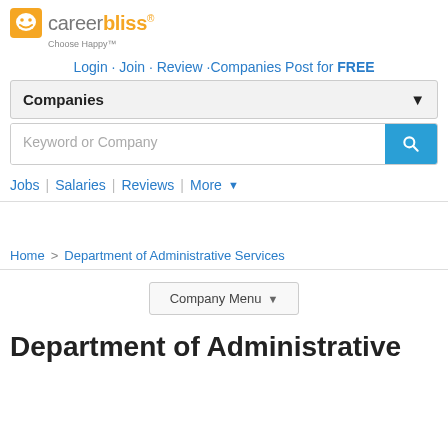[Figure (logo): CareerBliss logo with smiley face icon, orange and gray text, 'Choose Happy' tagline]
Login · Join · Review ·Companies Post for FREE
Companies (dropdown)
Keyword or Company (search input)
Jobs | Salaries | Reviews | More
Home > Department of Administrative Services
Company Menu ▾
Department of Administrative